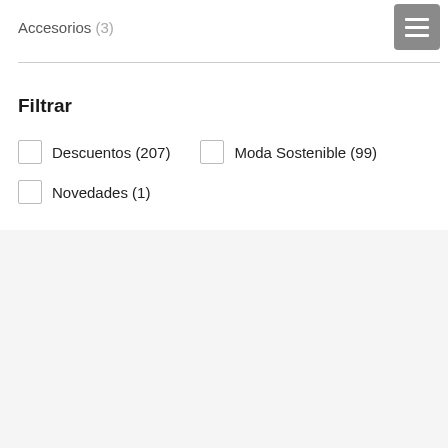Accesorios (3)
Filtrar
Descuentos (207)
Moda Sostenible (99)
Novedades (1)
Usamos cookies en nuestro sitio web para brindarle la experiencia más relevante recordando sus preferencias y visitas repetidas. Al hacer clic en "Aceptar todo", acepta el uso de TODAS las cookies. Sin embargo, puede visitar "Configuración de cookies" para proporcionar un consentimiento controlado.
Configurar cookies
Aceptar todo